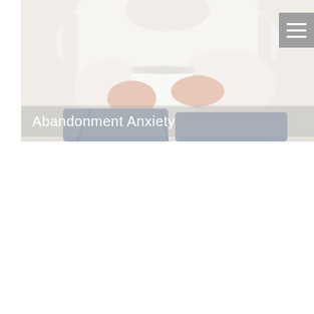[Figure (photo): A person in a white knit sweater and scarf holding a white ceramic mug with both hands, sitting with jeans-covered legs crossed. The image is softly lit with a white/light background. A hamburger menu icon appears in a gray square in the upper right corner of the image.]
Abandonment Anxiety